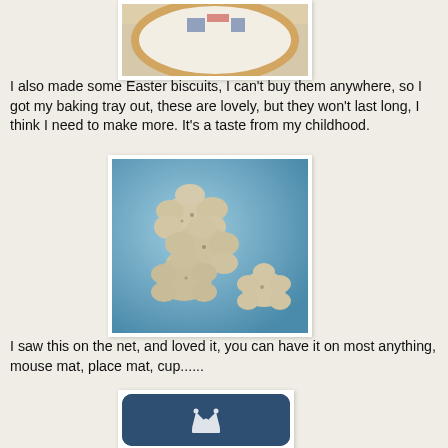[Figure (photo): Top of a cross-stitch embroidery hoop showing a partial blue/red design on white fabric]
I also made some Easter biscuits, I can't buy them anywhere, so I got my baking tray out, these are lovely, but they won't last long, I think I need to make more. It's a taste from my childhood.
[Figure (photo): Flower-shaped Easter biscuits piled on a blue surface/plate]
I saw this on the net, and loved it, you can have it on most anything, mouse mat, place mat, cup......
[Figure (photo): A dark blue rounded rectangular mat/item with a white crown design]